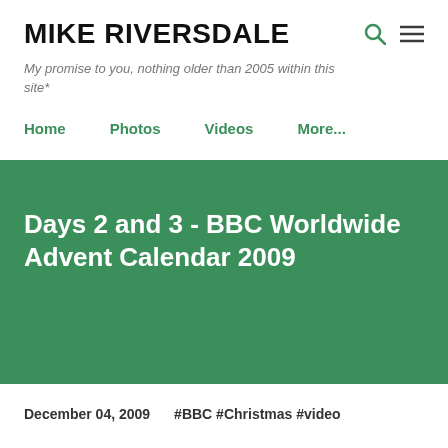MIKE RIVERSDALE
My promise to you, nothing older than 2005 within this site*
Home
Photos
Videos
More...
Days 2 and 3 - BBC Worldwide Advent Calendar 2009
December 04, 2009   #BBC #Christmas #video